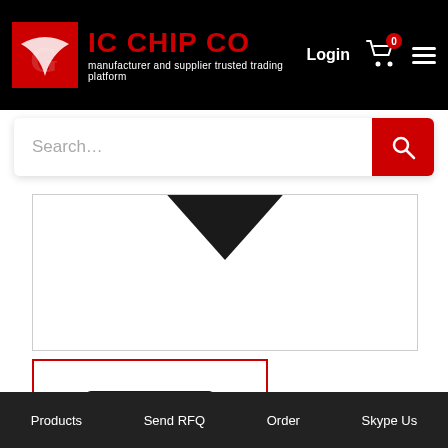[Figure (logo): IC CHIP CO logo with red G icon and tagline 'manufacturer and supplier trusted trading platform', Login button, cart icon with 0 badge, and hamburger menu]
[Figure (screenshot): Search bar with placeholder 'Search...' and red search button]
[Figure (photo): Large product card showing dark triangular/diamond shape pointing down against white background]
[Figure (photo): Thumbnail of a small black IC chip component with X logo, shown in red-bordered square]
MANUFACTURER
Products   Send RFQ   Order   Skype Us